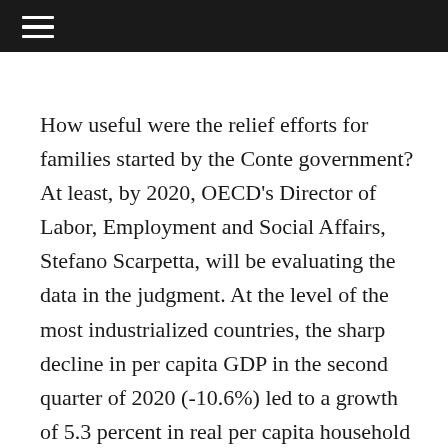≡
How useful were the relief efforts for families started by the Conte government? At least, by 2020, OECD's Director of Labor, Employment and Social Affairs, Stefano Scarpetta, will be evaluating the data in the judgment. At the level of the most industrialized countries, the sharp decline in per capita GDP in the second quarter of 2020 (-10.6%) led to a growth of 5.3 percent in real per capita household income. This is precisely thanks to the supportive measures taken by various governments during the Kovid-19 Pandemic. But not all countries achieve the best results: In my